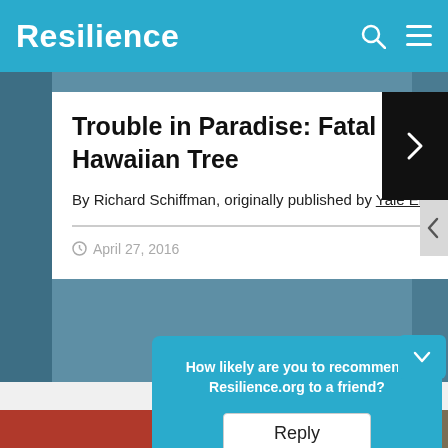Resilience
Trouble in Paradise: Fatal Blight Threatens A Key Hawaiian Tree
By Richard Schiffman, originally published by Yale Environment 360
April 27, 2016
LATES
How likely are you to recommend Resilience.org to a friend?
Reply